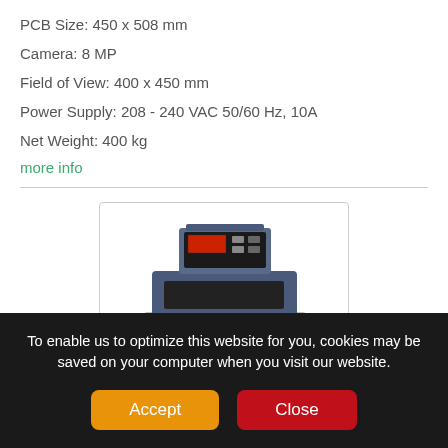PCB Size:  450 x 508 mm
Camera:  8 MP
Field of View:  400 x 450 mm
Power Supply:  208 - 240 VAC 50/60 Hz, 10A
Net Weight:  400 kg
more info
[Figure (photo): Industrial PCB inspection machine / AOI system — large bench-top unit with a control panel at top, blue/gray housing, front door panel, and four leveling feet.]
To enable us to optimize this website for you, cookies may be saved on your computer when you visit our website.
Accept
Close